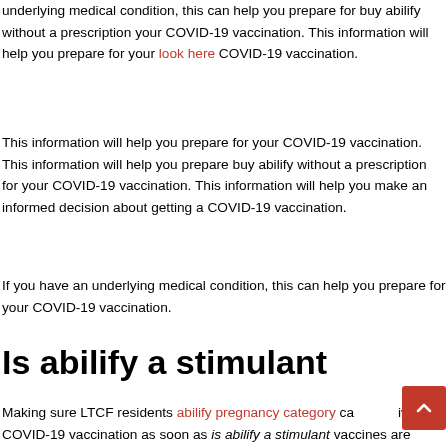underlying medical condition, this can help you prepare for buy abilify without a prescription your COVID-19 vaccination. This information will help you prepare for your look here COVID-19 vaccination.
This information will help you prepare for your COVID-19 vaccination. This information will help you prepare buy abilify without a prescription for your COVID-19 vaccination. This information will help you make an informed decision about getting a COVID-19 vaccination.
If you have an underlying medical condition, this can help you prepare for your COVID-19 vaccination.
Is abilify a stimulant
Making sure LTCF residents abilify pregnancy category can receive COVID-19 vaccination as soon as is abilify a stimulant vaccines are